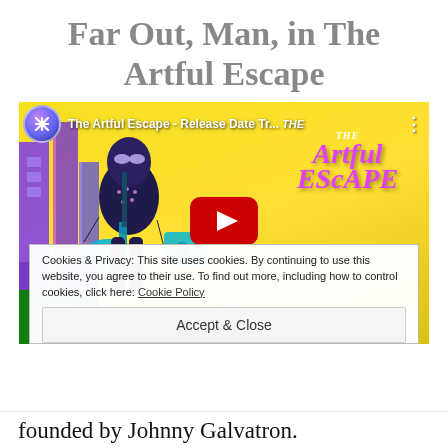Far Out, Man, in The Artful Escape
[Figure (screenshot): YouTube embedded video thumbnail for 'The Artful Escape - Release Date Tr...' showing a rock star character holding a guitar in a colorful yellow and purple scene with the game's stylized logo. Overlaid cookie/privacy notice with Accept & Close button.]
Cookies & Privacy: This site uses cookies. By continuing to use this website, you agree to their use. To find out more, including how to control cookies, click here: Cookie Policy
Accept & Close
founded by Johnny Galvatron.